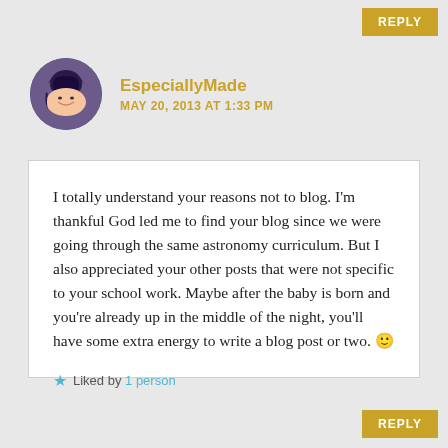REPLY
EspeciallyMade
MAY 20, 2013 AT 1:33 PM
I totally understand your reasons not to blog. I'm thankful God led me to find your blog since we were going through the same astronomy curriculum. But I also appreciated your other posts that were not specific to your school work. Maybe after the baby is born and you're already up in the middle of the night, you'll have some extra energy to write a blog post or two. 🙂
Liked by 1 person
REPLY